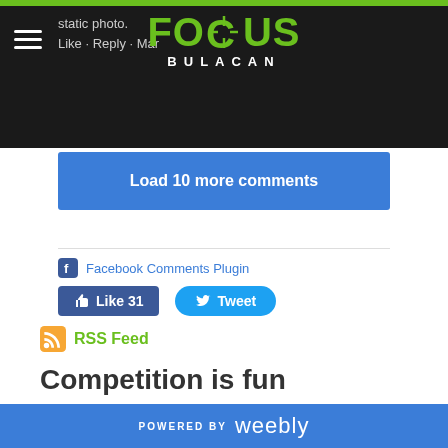Focus Bulacan — static photo. Like · Reply · Mar...
Load 10 more comments
Facebook Comments Plugin
[Figure (screenshot): Like 31 and Tweet social media buttons]
RSS Feed
Competition is fun
At Focus Bulacan, we strive to improve every member's photography skills. One way to do this is to constantly
POWERED BY weebly